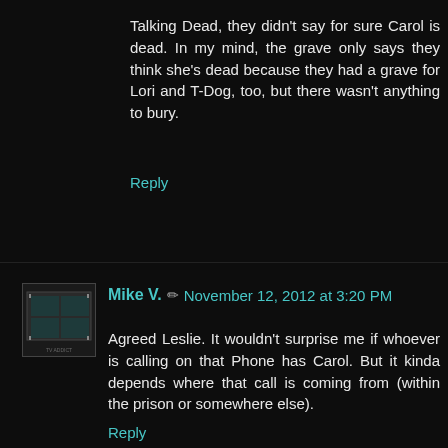Talking Dead, they didn't say for sure Carol is dead. In my mind, the grave only says they think she's dead because they had a grave for Lori and T-Dog, too, but there wasn't anything to bury.
Reply
Mike V. ✏ November 12, 2012 at 3:20 PM
Agreed Leslie. It wouldn't surprise me if whoever is calling on that Phone has Carol. But it kinda depends where that call is coming from (within the prison or somewhere else).
Reply
MJ November 12, 2012 at 3:27 PM
LOL on that call Mike ! Nice deflecton.
I watched talking Dead but guess I missed the part about a deleted scene. They def said something about whether Carol is dead or not but it confused me last night and now I can't remember exactly what they said.